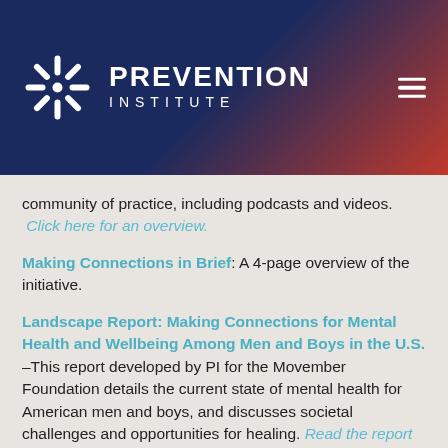[Figure (logo): Prevention Institute logo with white snowflake/asterisk icon and white text 'PREVENTION INSTITUTE' on dark blue to red gradient header background, with hamburger menu icon top right]
community of practice, including podcasts and videos.  Click here for an overview.
Making Connections in Brief: A 4-page overview of the initiative.
Landscape Report: Making Connections for Mental Health and Wellbeing Among Men and Boys in the U.S. – This report developed by PI for the Movember Foundation details the current state of mental health for American men and boys, and discusses societal challenges and opportunities for healing. Read the report in its entirety here. Read the executive summary here.
Webinar: Making Connections Initiative – In